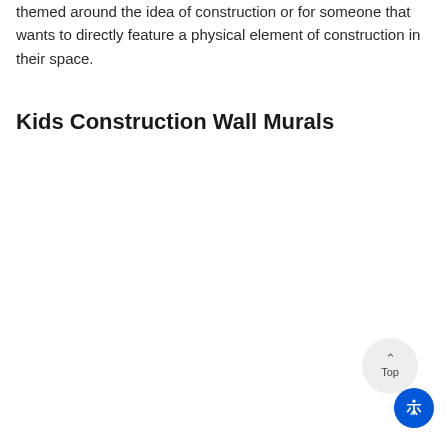themed around the idea of construction or for someone that wants to directly feature a physical element of construction in their space.
Kids Construction Wall Murals